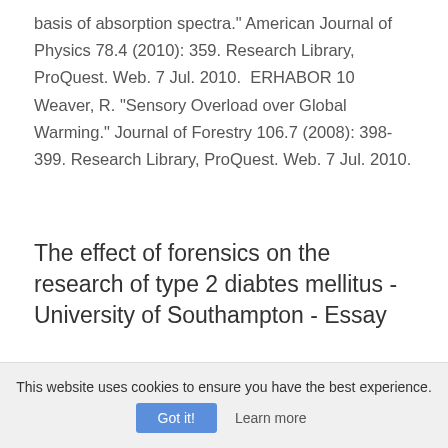basis of absorption spectra." American Journal of Physics 78.4 (2010): 359. Research Library, ProQuest. Web. 7 Jul. 2010.  ERHABOR 10 Weaver, R. "Sensory Overload over Global Warming." Journal of Forestry 106.7 (2008): 398-399. Research Library, ProQuest. Web. 7 Jul. 2010.
The effect of forensics on the research of type 2 diabtes mellitus - University of Southampton - Essay
3828 words - 16 pages
This website uses cookies to ensure you have the best experience.